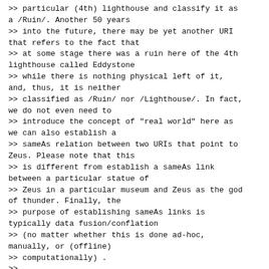>> particular (4th) lighthouse and classify it as a /Ruin/. Another 50 years
>> into the future, there may be yet another URI that refers to the fact that
>> at some stage there was a ruin here of the 4th lighthouse called Eddystone
>> while there is nothing physical left of it, and, thus, it is neither
>> classified as /Ruin/ nor /Lighthouse/. In fact, we do not even need to
>> introduce the concept of "real world" here as we can also establish a
>> sameAs relation between two URIs that point to Zeus. Please note that this
>> is different from establish a sameAs link between a particular statue of
>> Zeus in a particular museum and Zeus as the god of thunder. Finally, the
>> purpose of establishing sameAs links is typically data fusion/conflation
>> (no matter whether this is done ad-hoc, manually, or (offline)
>> computationally) .
>>
>> Best,
>> Jano
>>
>>
>>
>> On 09/21/2016 06:20 AM, Joshua Lieberman wrote: